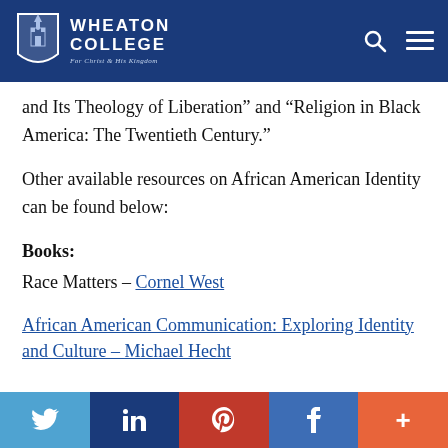Wheaton College – For Christ and His Kingdom
and Its Theology of Liberation” and “Religion in Black America: The Twentieth Century.”
Other available resources on African American Identity can be found below:
Books:
Race Matters – Cornel West
African American Communication: Exploring Identity and Culture – Michael Hecht
Social share bar: Twitter, LinkedIn, Pinterest, Facebook, More